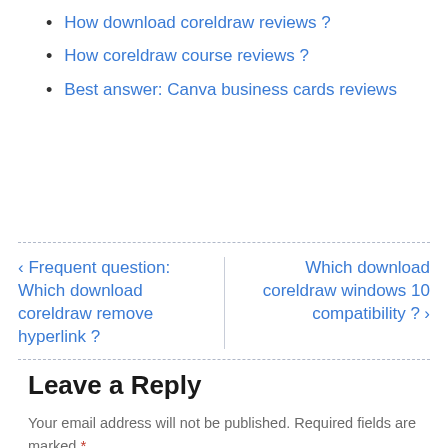How download coreldraw reviews ?
How coreldraw course reviews ?
Best answer: Canva business cards reviews
‹ Frequent question: Which download coreldraw remove hyperlink ?
Which download coreldraw windows 10 compatibility ? ›
Leave a Reply
Your email address will not be published. Required fields are marked *
Comment *